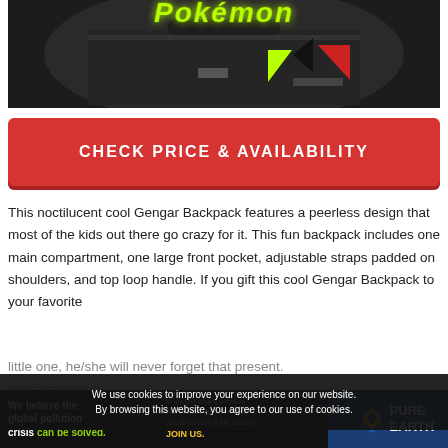[Figure (photo): Pokémon branded Gengar backpack on dark background with neon green Pokémon logo and colorful geometric triangle patterns]
CHECK PRICE & AVAILABILITY
This noctilucent cool Gengar Backpack features a peerless design that most of the kids out there go crazy for it. This fun backpack includes one main compartment, one large front pocket, adjustable straps padded on shoulders, and top loop handle. If you gift this cool Gengar Backpack to your favorite little one, he/she will never forget that present. specifications
We use cookies to improve your experience on our website. By browsing this website, you agree to our use of cookies.
[Figure (infographic): Pure Earth advertisement banner: 'We believe the global pollution crisis can be solved.' with Pure Earth logo]